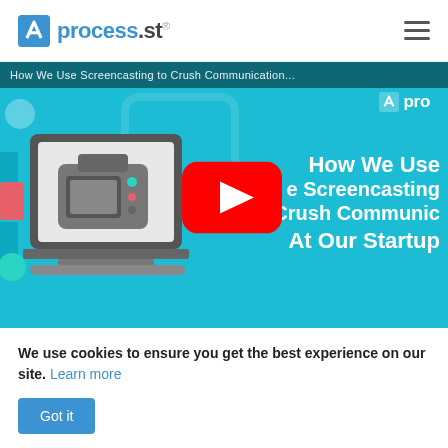process.st
[Figure (screenshot): YouTube video thumbnail for 'How We Use Screencasting to Crush Communication At Our Startup' on process.st, showing a laptop illustration with a camera on a teal/blue background with YouTube play button overlay]
We use cookies to ensure you get the best experience on our site. Learn more
Got it